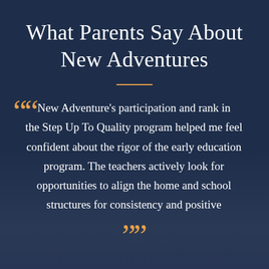What Parents Say About New Adventures
New Adventure's participation and rank in the Step Up To Quality program helped me feel confident about the rigor of the early education program. The teachers actively look for opportunities to align the home and school structures for consistency and positive